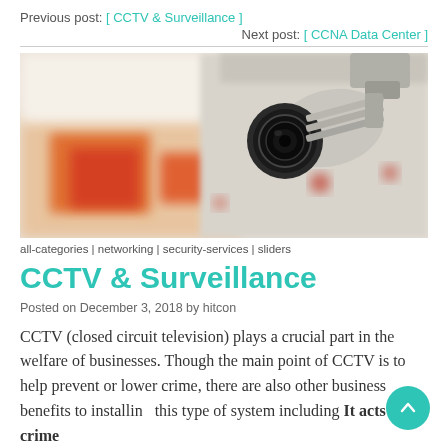Previous post: [ CCTV & Surveillance ]
Next post: [ CCNA Data Center ]
[Figure (photo): A CCTV security camera mounted on a ceiling/wall, with a blurred retail/office background showing orange/red and grey tones.]
all-categories | networking | security-services | sliders
CCTV & Surveillance
Posted on December 3, 2018 by hitcon
CCTV (closed circuit television) plays a crucial part in the welfare of businesses. Though the main point of CCTV is to help prevent or lower crime, there are also other business benefits to installing this type of system including It acts as a crime